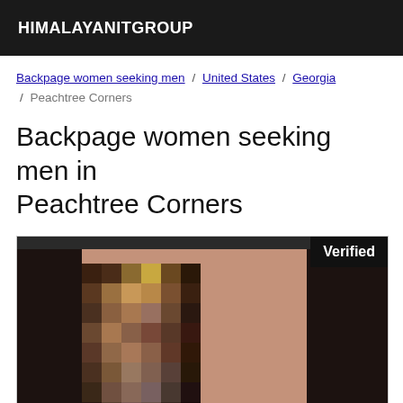HIMALAYANITGROUP
Backpage women seeking men / United States / Georgia / Peachtree Corners
Backpage women seeking men in Peachtree Corners
[Figure (photo): A photo of a person with long dark hair, face pixelated/blurred for anonymity, with a black 'Verified' badge in the top right corner of the image.]